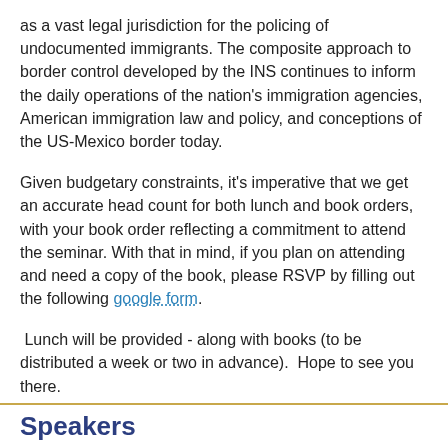as a vast legal jurisdiction for the policing of undocumented immigrants. The composite approach to border control developed by the INS continues to inform the daily operations of the nation's immigration agencies, American immigration law and policy, and conceptions of the US-Mexico border today.
Given budgetary constraints, it's imperative that we get an accurate head count for both lunch and book orders, with your book order reflecting a commitment to attend the seminar. With that in mind, if you plan on attending and need a copy of the book, please RSVP by filling out the following google form.
Lunch will be provided - along with books (to be distributed a week or two in advance).  Hope to see you there.
Speakers